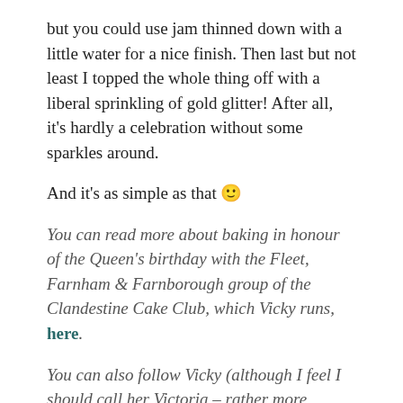but you could use jam thinned down with a little water for a nice finish. Then last but not least I topped the whole thing off with a liberal sprinkling of gold glitter! After all, it's hardly a celebration without some sparkles around.
And it's as simple as that 🙂
You can read more about baking in honour of the Queen's birthday with the Fleet, Farnham & Farnborough group of the Clandestine Cake Club, which Vicky runs, here.
You can also follow Vicky (although I feel I should call her Victoria – rather more regal!) on Twitter @vixyvonshock.